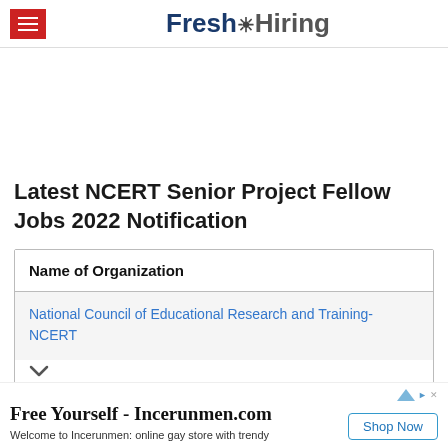Fresh Hiring
Latest NCERT Senior Project Fellow Jobs 2022 Notification
| Name of Organization |
| --- |
| National Council of Educational Research and Training-NCERT |
Free Yourself - Incerunmen.com
Welcome to Incerunmen: online gay store with trendy